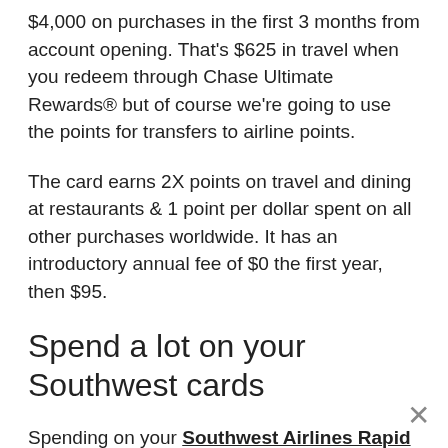$4,000 on purchases in the first 3 months from account opening. That's $625 in travel when you redeem through Chase Ultimate Rewards® but of course we're going to use the points for transfers to airline points.
The card earns 2X points on travel and dining at restaurants & 1 point per dollar spent on all other purchases worldwide. It has an introductory annual fee of $0 the first year, then $95.
Spend a lot on your Southwest cards
Spending on your Southwest Airlines Rapid Rewards® Premier Credit Card counts toward the 110,000 points needed in a calendar year